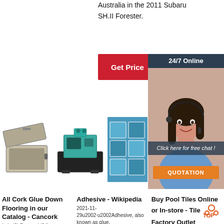Australia in the 2011 Subaru SH.II Forester.
[Figure (other): Red 'Get Price' button]
[Figure (photo): 24/7 Online customer service representative ad with 'Click here for free chat!' and QUOTATION button]
[Figure (photo): Plastic storage container/box with lid open]
[Figure (photo): Winman industrial machine (teal/black CNC machine)]
[Figure (photo): Blue pool tiles image partially visible]
All Cork Glue Down Flooring in our Catalog - Cancork
Italy (0) Portugal (24)
Adhesive - Wikipedia
2021-11-29u2002·u2002Adhesive, also known as glue,
Buy Pool Tiles Online or In-store - Tile Factory Outlet
Top Brands From